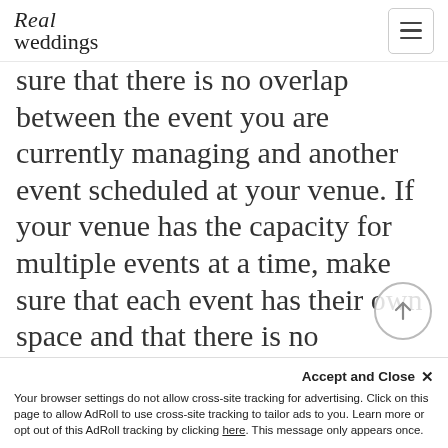Real weddings
sure that there is no overlap between the event you are currently managing and another event scheduled at your venue. If your venue has the capacity for multiple events at a time, make sure that each event has their own space and that there is no confusion with who is using which area.
Accept and Close ✕
Your browser settings do not allow cross-site tracking for advertising. Click on this page to allow AdRoll to use cross-site tracking to tailor ads to you. Learn more or opt out of this AdRoll tracking by clicking here. This message only appears once.